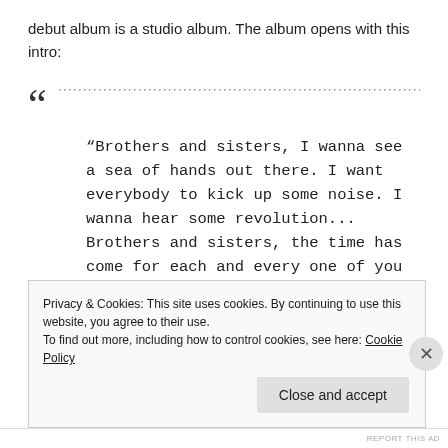debut album is a studio album. The album opens with this intro:
“Brothers and sisters, I wanna see a sea of hands out there. I want everybody to kick up some noise. I wanna hear some revolution... Brothers and sisters, the time has come for each and every one of you to decide whether you are going to be the problem or whether you are going to be the solution. You must
Privacy & Cookies: This site uses cookies. By continuing to use this website, you agree to their use.
To find out more, including how to control cookies, see here: Cookie Policy
Close and accept